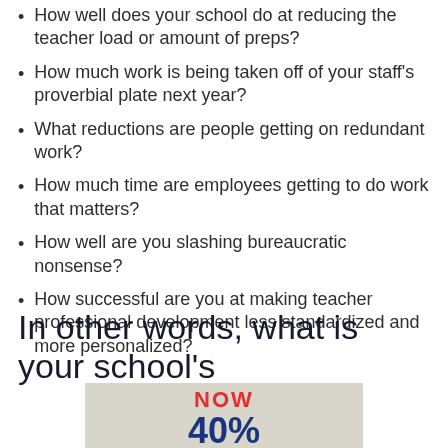How well does your school do at reducing the teacher load or amount of preps?
How much work is being taken off of your staff's proverbial plate next year?
What reductions are people getting on redundant work?
How much time are employees getting to do work that matters?
How well are you slashing bureaucratic nonsense?
How successful are you at making teacher professional development less standardized and more personalized?
In other words, what is your school's
[Figure (other): Promotional graphic on a beige/tan background showing 'NOW' in bold red text and '40%' partially visible in bold dark blue text below it.]